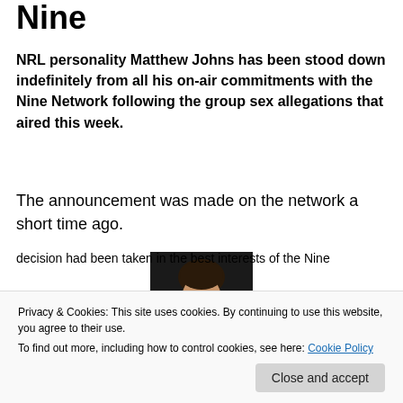Nine
NRL personality Matthew Johns has been stood down indefinitely from all his on-air commitments with the Nine Network following the group sex allegations that aired this week.
The announcement was made on the network a short time ago.
[Figure (photo): Headshot photo of Matthew Johns against dark background, smiling man in suit]
Privacy & Cookies: This site uses cookies. By continuing to use this website, you agree to their use.
To find out more, including how to control cookies, see here: Cookie Policy
decision had been taken in the best interests of the Nine